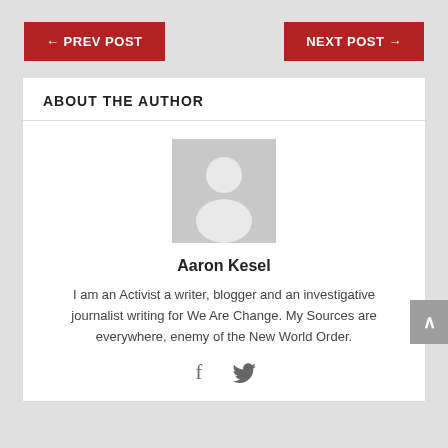← PREV POST
NEXT POST →
ABOUT THE AUTHOR
[Figure (illustration): Generic user avatar placeholder — grey square with white silhouette of a person (head and shoulders)]
Aaron Kesel
I am an Activist a writer, blogger and an investigative journalist writing for We Are Change. My Sources are everywhere, enemy of the New World Order.
[Figure (other): Social media icons: Facebook (f) and Twitter (bird) icons in grey]